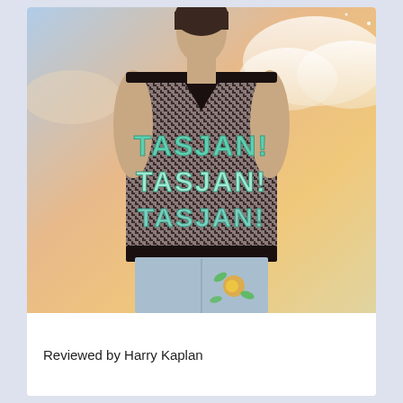[Figure (photo): Album cover photo showing a person wearing a dark houndstooth-pattern sleeveless vest/sweater with 'TASJAN! TASJAN! TASJAN!' printed in large teal letters across the chest. The person is wearing light blue jeans with floral embroidery. The background shows a pastel sky with clouds in warm peach/pink and blue tones.]
Reviewed by Harry Kaplan